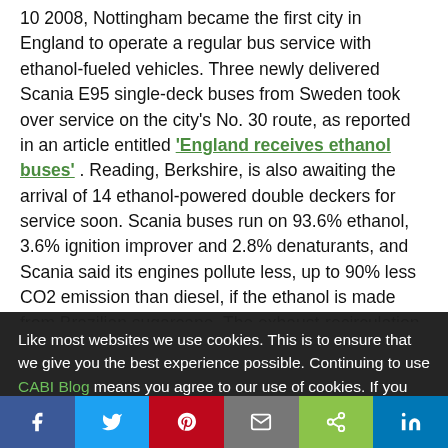10 2008, Nottingham became the first city in England to operate a regular bus service with ethanol-fueled vehicles. Three newly delivered Scania E95 single-deck buses from Sweden took over service on the city's No. 30 route, as reported in an article entitled 'England receives ethanol buses' . Reading, Berkshire, is also awaiting the arrival of 14 ethanol-powered double deckers for service soon. Scania buses run on 93.6% ethanol, 3.6% ignition improver and 2.8% denaturants, and Scania said its engines pollute less, up to 90% less CO2 emission than diesel, if the ethanol is made from Brazilian sugarcane. The exhaust-recirculation system requires no after-treatment of exhaust gases. On the downside, ethanol-fueled buses use nearly 40% more fuel than
Like most websites we use cookies. This is to ensure that we give you the best experience possible. Continuing to use CABI Blog means you agree to our use of cookies. If you would like to, you can learn more about the cookies we use here.